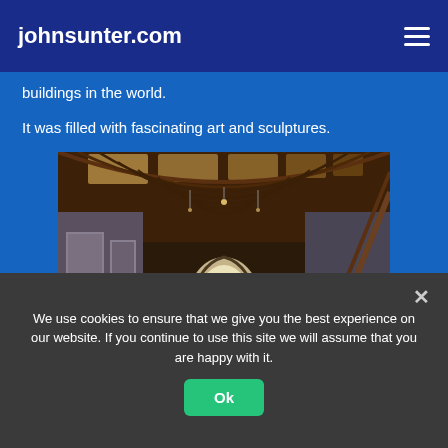johnsunter.com
buildings in the world.
It was filled with fascinating art and sculptures.
[Figure (photo): Interior of a large hall or museum-like space with a high arched wooden beam ceiling, artwork displayed along the walls, and a bright archway at the far end. A lone person stands in the middle of the hall.]
We use cookies to ensure that we give you the best experience on our website. If you continue to use this site we will assume that you are happy with it.